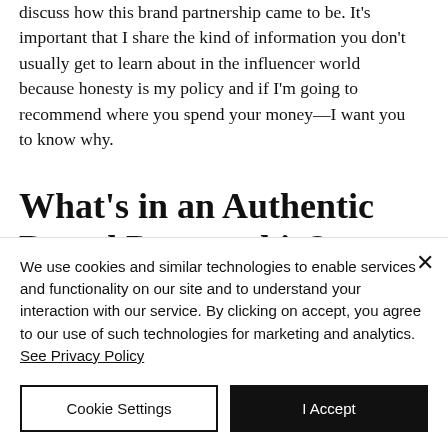discuss how this brand partnership came to be. It's important that I share the kind of information you don't usually get to learn about in the influencer world because honesty is my policy and if I'm going to recommend where you spend your money—I want you to know why.
What's in an Authentic Brand Partnership?
We use cookies and similar technologies to enable services and functionality on our site and to understand your interaction with our service. By clicking on accept, you agree to our use of such technologies for marketing and analytics. See Privacy Policy